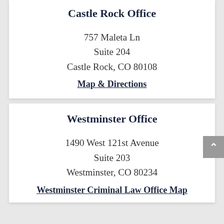Castle Rock Office
757 Maleta Ln
Suite 204
Castle Rock, CO 80108
Map & Directions
Westminster Office
1490 West 121st Avenue
Suite 203
Westminster, CO 80234
Westminster Criminal Law Office Map